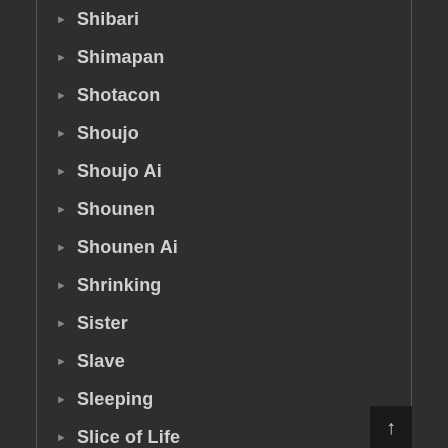Shibari
Shimapan
Shotacon
Shoujo
Shoujo Ai
Shounen
Shounen Ai
Shrinking
Sister
Slave
Sleeping
Slice of Life
Slime